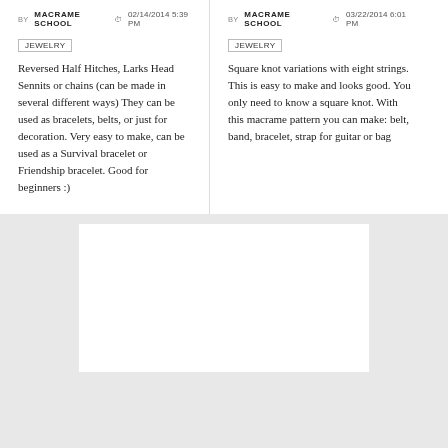BY MACRAME SCHOOL  02/14/2014 5:39 PM
JEWELRY
Reversed Half Hitches, Larks Head Sennits or chains (can be made in several different ways) They can be used as bracelets, belts, or just for decoration. Very easy to make, can be used as a Survival bracelet or Friendship bracelet. Good for beginners :)
BY MACRAME SCHOOL  03/22/2014 6:01 PM
JEWELRY
Square knot variations with eight strings. This is easy to make and looks good. You only need to know a square knot. With this macrame pattern you can make: belt, band, bracelet, strap for guitar or bag
[Figure (other): White rectangular image placeholder area on gray background]